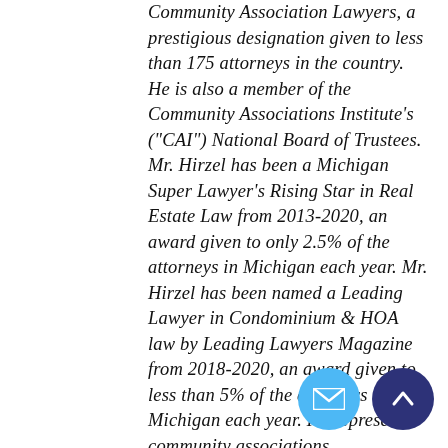Community Association Lawyers, a prestigious designation given to less than 175 attorneys in the country. He is also a member of the Community Associations Institute's ("CAI") National Board of Trustees. Mr. Hirzel has been a Michigan Super Lawyer's Rising Star in Real Estate Law from 2013-2020, an award given to only 2.5% of the attorneys in Michigan each year. Mr. Hirzel has been named a Leading Lawyer in Condominium & HOA law by Leading Lawyers Magazine from 2018-2020, an award given to less than 5% of the attorneys in Michigan each year. He represents community associations, condominium associations, cooperatives, homeowners associations, property owners and property managers throughout Michigan. He may be reached at (248) 480-8758 or kevin@hirzellaw.com